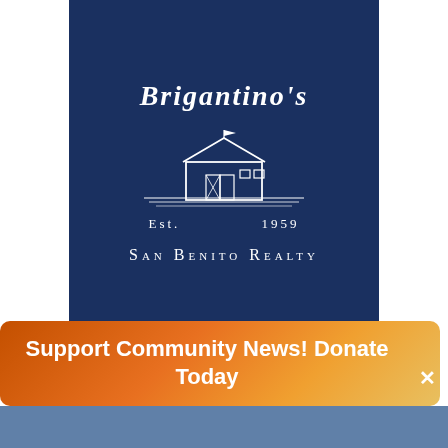[Figure (logo): Brigantino's San Benito Realty logo on dark navy blue background. Features italic white text 'BRIGANTINO'S' in a curved/arched arrangement at top, a white line-art illustration of a barn with a small flag, 'Est. 1959' flanking the barn, and 'SAN BENITO REALTY' in small caps below.]
Support Community News! Donate Today